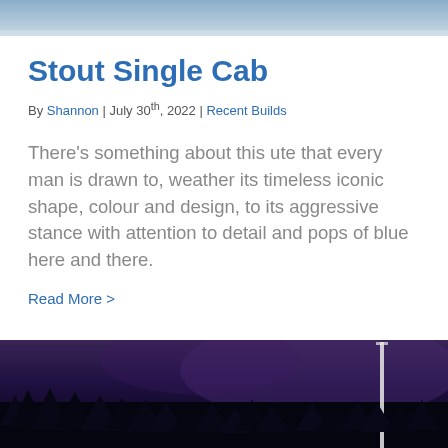[Figure (photo): Top portion of an outdoor photo, blue-grey sky]
Stout Single Cab
By Shannon | July 30th, 2022 | Recent Builds
There's something about this ute that every man is drawn to, weather its timeless iconic shape, colour and design, to its aggressive stance with attention to detail and pops of blue here and there.
Read More >
[Figure (photo): Night-time outdoor photo showing dark silhouettes of trees against a deep purple/blue sky, with a white pole or light structure visible on the right side]